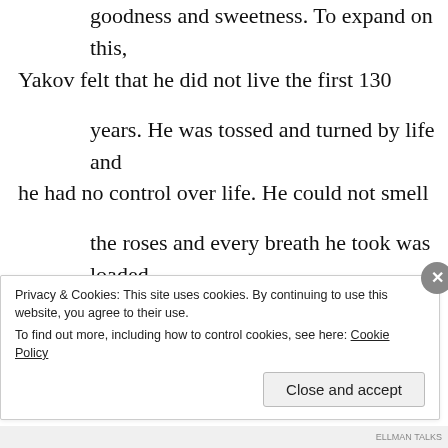much so that he felt as if he lived for 147 years in goodness and sweetness. To expand on this, Yakov felt that he did not live the first 130 years. He was tossed and turned by life and he had no control over life. He could not smell the roses and every breath he took was loaded with stress. Once he went to Egypt and was
Privacy & Cookies: This site uses cookies. By continuing to use this website, you agree to their use. To find out more, including how to control cookies, see here: Cookie Policy
Close and accept